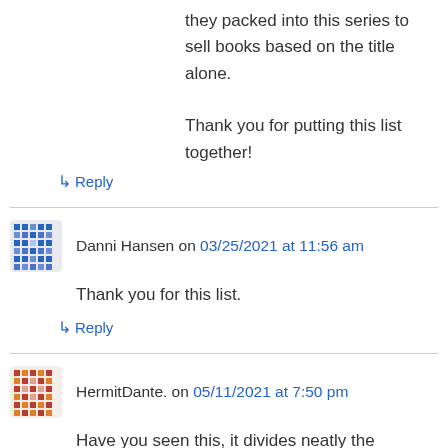they packed into this series to sell books based on the title alone.
Thank you for putting this list together!
↳ Reply
Danni Hansen on 03/25/2021 at 11:56 am
Thank you for this list.
↳ Reply
HermitDante. on 05/11/2021 at 7:50 pm
Have you seen this, it divides neatly the storylines of the HH in differente legions. http://www.kylebb.com/HH/HHSeriesOrder.html